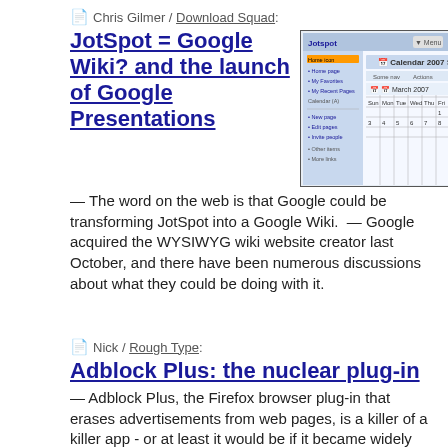📄 Chris Gilmer / Download Squad:
JotSpot = Google Wiki? and the launch of Google Presentations
[Figure (screenshot): Screenshot of JotSpot/Google wiki calendar interface showing Calendar 2007 and March 2007]
— The word on the web is that Google could be transforming JotSpot into a Google Wiki. — Google acquired the WYSIWYG wiki website creator last October, and there have been numerous discussions about what they could be doing with it.
📄 Nick / Rough Type:
Adblock Plus: the nuclear plug-in
— Adblock Plus, the Firefox browser plug-in that erases advertisements from web pages, is a killer of a killer app - or at least it would be if it became widely popular. Right now, it sits like a coyote